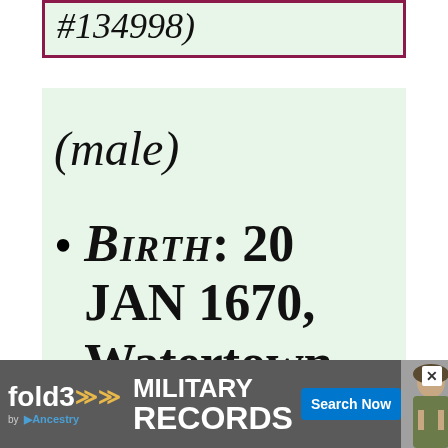#134998)
(male)
BIRTH: 20 JAN 1670, Watertown, Middlesex
[Figure (other): Advertisement banner for fold3 Military Records by Ancestry, with Search Now button and soldier photo]